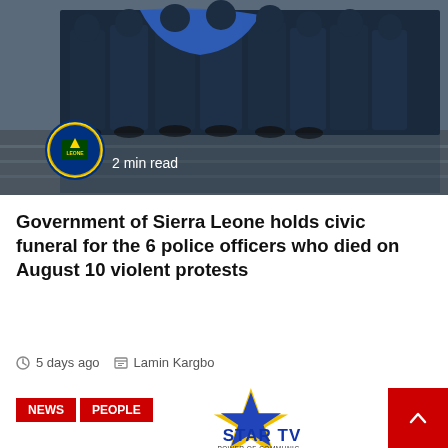[Figure (photo): Police officers in dark blue uniforms gathered on a wet surface, one holding a blue cloth/flag. A Sierra Leone government seal/logo overlay is visible at bottom left with '2 min read' text.]
Government of Sierra Leone holds civic funeral for the 6 police officers who died on August 10 violent protests
5 days ago   Lamin Kargbo
NEWS   PEOPLE
[Figure (logo): Star TV logo — a blue star shape on a yellow star background with 'STAR TV' text in bold blue and subtitle 'POWER OF COMMUNIC...' partially visible]